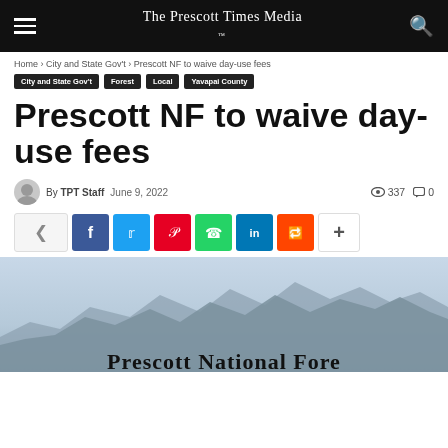The Prescott Times Media™
Home › City and State Gov't › Prescott NF to waive day-use fees
City and State Gov't
Forest
Local
Yavapai County
Prescott NF to waive day-use fees
By TPT Staff   June 9, 2022   337 views   0 comments
[Figure (screenshot): Social sharing buttons row: share, Facebook, Twitter, Pinterest, WhatsApp, LinkedIn, Reddit, more]
[Figure (photo): Photo of mountain range – Prescott National Forest, partially visible at bottom of page]